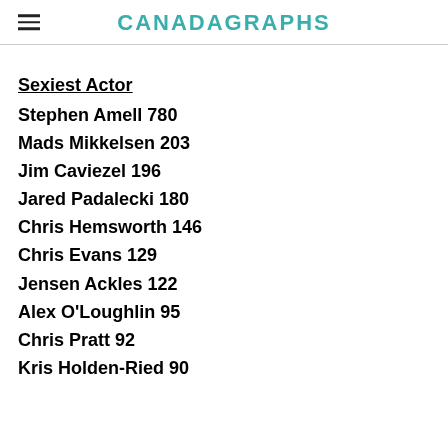CANADAGRAPHS
Sexiest Actor
Stephen Amell 780
Mads Mikkelsen 203
Jim Caviezel 196
Jared Padalecki 180
Chris Hemsworth 146
Chris Evans 129
Jensen Ackles 122
Alex O'Loughlin 95
Chris Pratt 92
Kris Holden-Ried 90